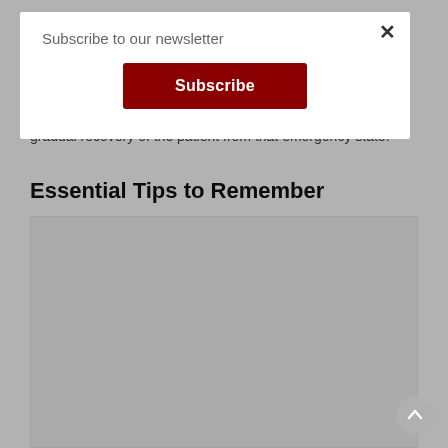Subscribe to our newsletter
Subscribe
gradual recovery of the patient from that emergency state.
Essential Tips to Remember
[Figure (photo): Image placeholder area with light gray background]